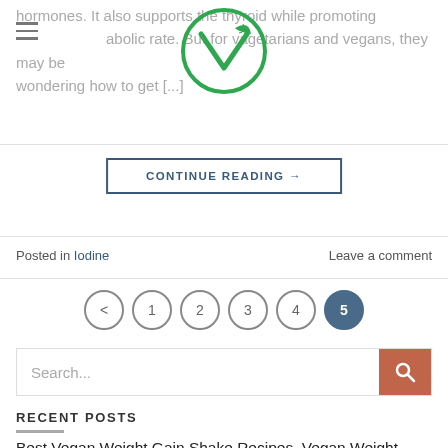hormones. It also supports the thyroid while promoting metabolic rate. But for vegetarians and vegans, they may be wondering how to get [...]
[Figure (logo): Green vegan leaf logo inside a circle]
CONTINUE READING →
Posted in Iodine    Leave a comment
Pagination: < 1 2 3 4 5 (current)
Search...
RECENT POSTS
Best Vegan Weight Gain Shake Recipes. Vegan Weight Gain Smoothies